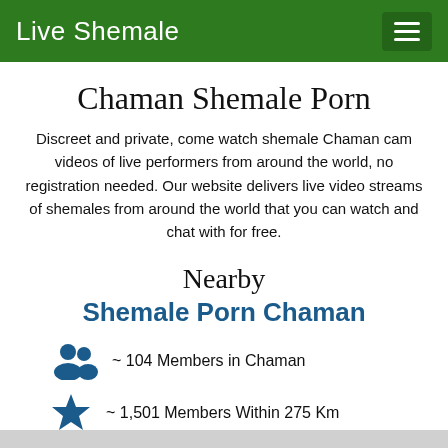Live Shemale
Chaman Shemale Porn
Discreet and private, come watch shemale Chaman cam videos of live performers from around the world, no registration needed. Our website delivers live video streams of shemales from around the world that you can watch and chat with for free.
Nearby
Shemale Porn Chaman
~ 104 Members in Chaman
~ 1,501 Members Within 275 Km